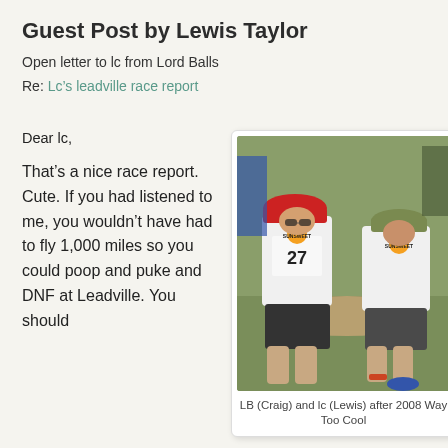Guest Post by Lewis Taylor
Open letter to lc from Lord Balls
Re: Lc’s leadville race report
Dear lc,
That’s a nice race report. Cute. If you had listened to me, you wouldn’t have had to fly 1,000 miles so you could poop and puke and DNF at Leadville. You should
[Figure (photo): Two runners wearing Sunsweet racing bibs sitting on the ground resting after a race. Left runner wears a red cap and bib number 27. Right runner wears a green hat.]
LB (Craig) and lc (Lewis) after 2008 Way Too Cool